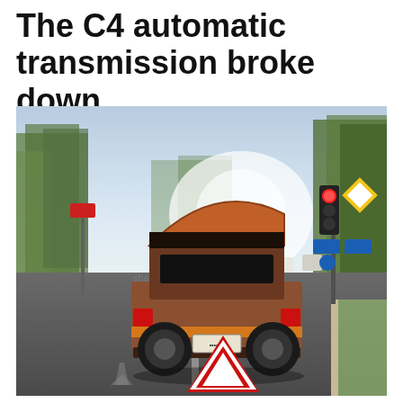The C4 automatic transmission broke down
[Figure (photo): A broken-down classic car (rear view) stopped on a city road with its trunk/hood open. A red warning triangle is placed on the road behind the vehicle. Traffic lights and road signs are visible in the background, along with trees lining the street. A watermark reads 'sharethestory.com'.]